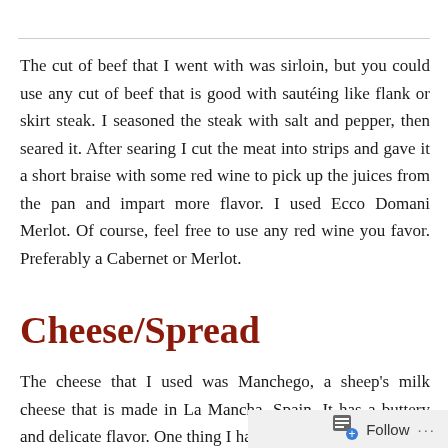The cut of beef that I went with was sirloin, but you could use any cut of beef that is good with sautéing like flank or skirt steak. I seasoned the steak with salt and pepper, then seared it. After searing I cut the meat into strips and gave it a short braise with some red wine to pick up the juices from the pan and impart more flavor. I used Ecco Domani Merlot. Of course, feel free to use any red wine you favor. Preferably a Cabernet or Merlot.
Cheese/Spread
The cheese that I used was Manchego, a sheep's milk cheese that is made in La Mancha, Spain. It has a buttery and delicate flavor. One thing I have added to it...